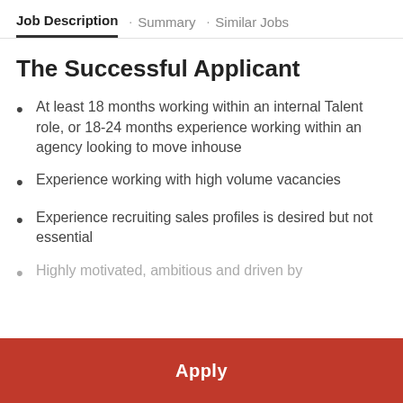Job Description · Summary · Similar Jobs
The Successful Applicant
At least 18 months working within an internal Talent role, or 18-24 months experience working within an agency looking to move inhouse
Experience working with high volume vacancies
Experience recruiting sales profiles is desired but not essential
Highly motivated, ambitious and driven by
Apply